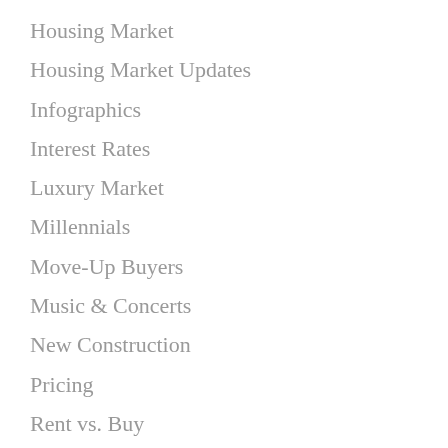Housing Market
Housing Market Updates
Infographics
Interest Rates
Luxury Market
Millennials
Move-Up Buyers
Music & Concerts
New Construction
Pricing
Rent vs. Buy